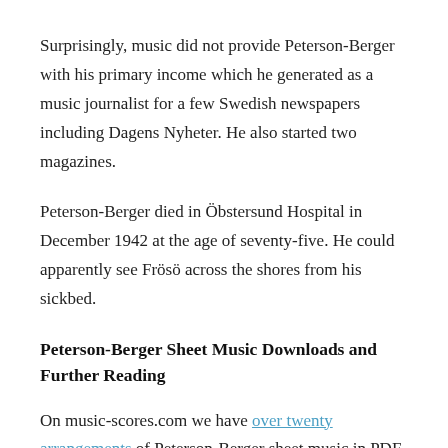Surprisingly, music did not provide Peterson-Berger with his primary income which he generated as a music journalist for a few Swedish newspapers including Dagens Nyheter. He also started two magazines.
Peterson-Berger died in Öbstersund Hospital in December 1942 at the age of seventy-five. He could apparently see Frösö across the shores from his sickbed.
Peterson-Berger Sheet Music Downloads and Further Reading
On music-scores.com we have over twenty arrangements of Peterson-Berger sheet music in PDF format for you to download.